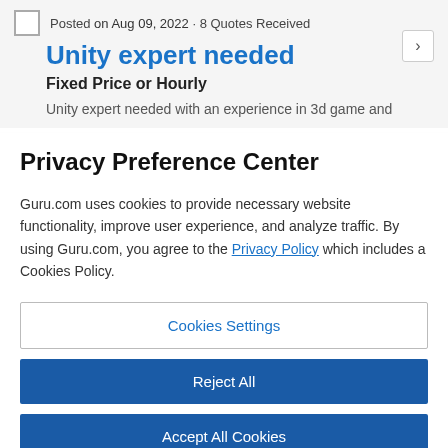Posted on Aug 09, 2022 · 8 Quotes Received
Unity expert needed
Fixed Price or Hourly
Unity expert needed with an experience in 3d game and
Privacy Preference Center
Guru.com uses cookies to provide necessary website functionality, improve user experience, and analyze traffic. By using Guru.com, you agree to the Privacy Policy which includes a Cookies Policy.
Cookies Settings
Reject All
Accept All Cookies